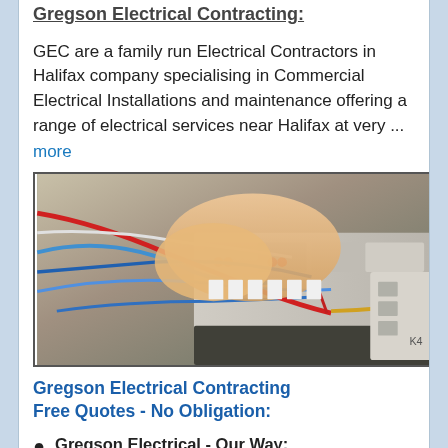Gregson Electrical Contracting:
GEC are a family run Electrical Contractors in Halifax company specialising in Commercial Electrical Installations and maintenance offering a range of electrical services near Halifax at very ...
more
[Figure (photo): Close-up photo of an electrician's hand using red test probes on electrical circuit breakers and wiring inside a consumer unit/fuse box, with blue and other colored wires visible.]
Gregson Electrical Contracting Free Quotes - No Obligation:
Gregson Electrical - Our Way: Est in 2010, our aims & core values have always been: To provide honest and ... more